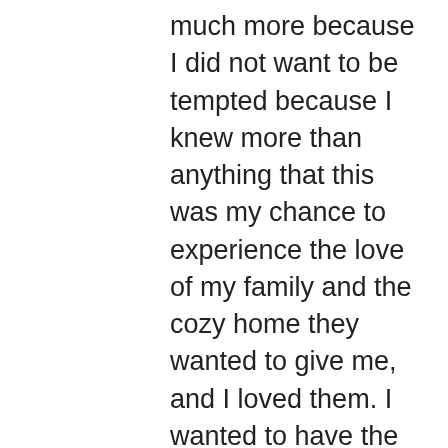much more because I did not want to be tempted because I knew more than anything that this was my chance to experience the love of my family and the cozy home they wanted to give me, and I loved them. I wanted to have the chance to show them my love. I turned around and went back. My family was so happy to see me, even just to see me open my eyes again! Even though I had